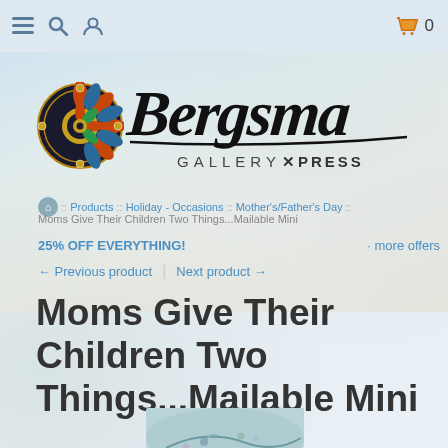Navigation bar with menu, search, user icons and shopping cart (0 items)
[Figure (logo): Bergsma Gallery Press logo with mandala emblem on left and stylized cursive 'Bergsma Gallery Press' text on right]
:: Products :: Holiday - Occasions :: Mother's/Father's Day ::
Moms Give Their Children Two Things...Mailable Mini
25% OFF EVERYTHING! · more offers
← Previous product | Next product →
Moms Give Their Children Two Things...Mailable Mini
[Figure (photo): Partial product image showing an artistic illustration with birds and floral elements in soft blue-green tones]